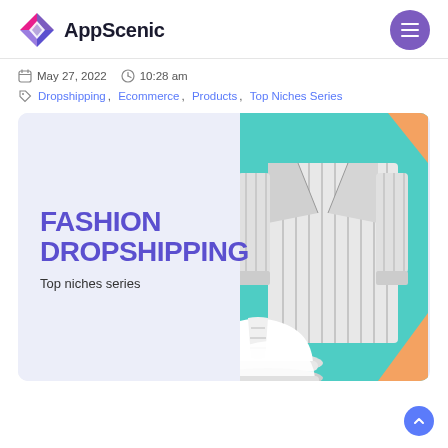AppScenic
May 27, 2022  10:28 am
Dropshipping, Ecommerce, Products, Top Niches Series
[Figure (illustration): Fashion Dropshipping banner image showing striped suit outfit and white sneakers on a teal background with text 'FASHION DROPSHIPPING Top niches series']